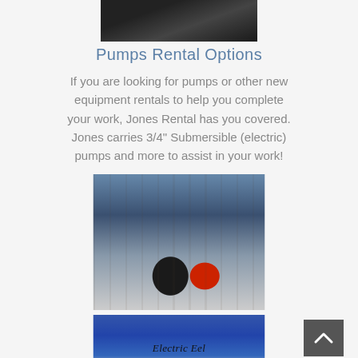[Figure (photo): Close-up photo of dark mechanical equipment (undercarriage or frame) against a dark background]
Pumps Rental Options
If you are looking for pumps or other new equipment rentals to help you complete your work, Jones Rental has you covered. Jones carries 3/4" Submersible (electric) pumps and more to assist in your work!
[Figure (photo): Photo of a blue submersible electric pump on a wheeled cart with red wheels, in a rental equipment store]
[Figure (photo): Photo of blue Husqvarna K770 equipment with Electric Eel branding visible, close-up detail shot]